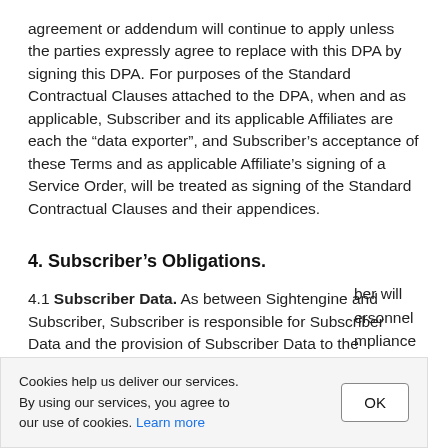agreement or addendum will continue to apply unless the parties expressly agree to replace with this DPA by signing this DPA. For purposes of the Standard Contractual Clauses attached to the DPA, when and as applicable, Subscriber and its applicable Affiliates are each the “data exporter”, and Subscriber’s acceptance of these Terms and as applicable Affiliate’s signing of a Service Order, will be treated as signing of the Standard Contractual Clauses and their appendices.
4. Subscriber’s Obligations.
4.1 Subscriber Data. As between Sightengine and Subscriber, Subscriber is responsible for Subscriber Data and the provision of Subscriber Data to the Services according to the Agreement.
Cookies help us deliver our services. By using our services, you agree to our use of cookies. Learn more
ber will ersonnel mpliance